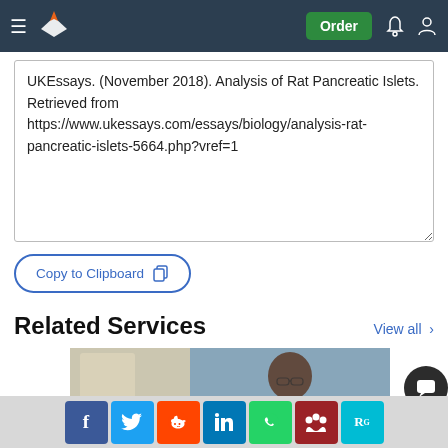UKEssays navigation bar with logo, Order button, notification and account icons
UKEssays. (November 2018). Analysis of Rat Pancreatic Islets. Retrieved from https://www.ukessays.com/essays/biology/analysis-rat-pancreatic-islets-5664.php?vref=1
Copy to Clipboard
Related Services
View all >
[Figure (photo): Photo of a student studying, partially visible, used as a service card thumbnail]
[Figure (other): Social share bar with Facebook, Twitter, Reddit, LinkedIn, WhatsApp, Mendeley, ResearchGate buttons]